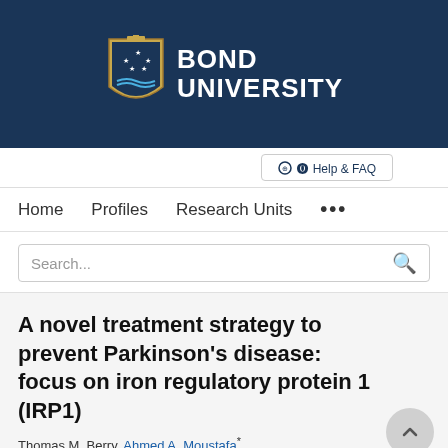[Figure (logo): Bond University logo with shield crest and white text on dark blue background]
Help & FAQ
Home   Profiles   Research Units   ...
Search...
A novel treatment strategy to prevent Parkinson's disease: focus on iron regulatory protein 1 (IRP1)
Thomas M. Berry, Ahmed A. Moustafa*